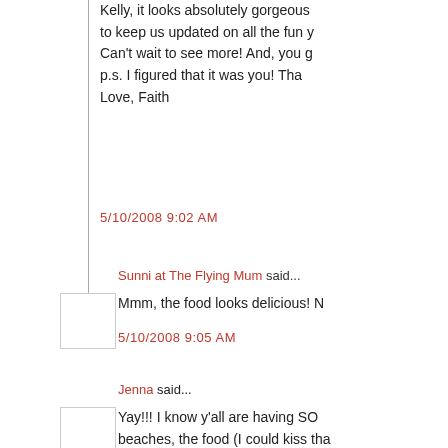Kelly, it looks absolutely gorgeous to keep us updated on all the fun y Can't wait to see more! And, you g p.s. I figured that it was you! Tha Love, Faith
5/10/2008 9:02 AM
Sunni at The Flying Mum said...
Mmm, the food looks delicious! N
5/10/2008 9:05 AM
Jenna said...
Yay!!! I know y'all are having SO beaches, the food (I could kiss tha friend!
5/10/2008 9:20 AM
RachelM said...
It looks like yall are having so mu